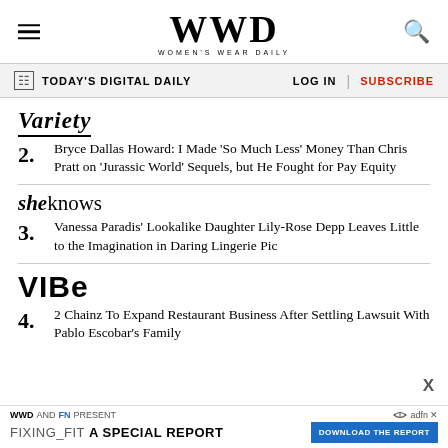WWD WOMEN'S WEAR DAILY
TODAY'S DIGITAL DAILY   LOG IN   SUBSCRIBE
[Figure (logo): Variety logo in italic serif font]
2. Bryce Dallas Howard: I Made 'So Much Less' Money Than Chris Pratt on 'Jurassic World' Sequels, but He Fought for Pay Equity
[Figure (logo): SheKnows logo]
3. Vanessa Paradis’ Lookalike Daughter Lily-Rose Depp Leaves Little to the Imagination in Daring Lingerie Pic
[Figure (logo): VIBE logo in bold black]
4. 2 Chainz To Expand Restaurant Business After Settling Lawsuit With Pablo Escobar's Family
WWD AND FN PRESENT FIXING_FIT A SPECIAL REPORT DOWNLOAD THE REPORT